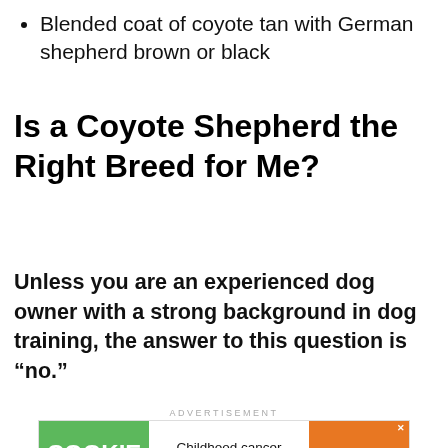Blended coat of coyote tan with German shepherd brown or black
Is a Coyote Shepherd the Right Breed for Me?
Unless you are an experienced dog owner with a strong background in dog training, the answer to this question is “no.”
ADVERTISEMENT
[Figure (other): Cookie Dough advertisement banner: green left panel with 'COOKIE DOUGH' text, center white panel with text 'Childhood cancer didn’t stop for COVID-19.', orange right panel with 'cookies for kids cancer GET BAKING']
[Figure (other): Bottom advertisement bar with play button, logo, store shopping info (In-store shopping, Curbside pickup, Delivery), navigation diamond icon, and dark panel with WW logo]